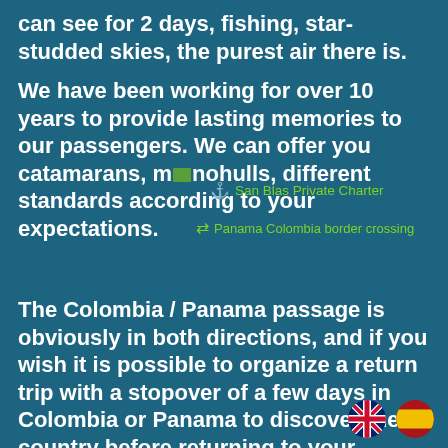can see for 2 days, fishing, star-studded skies, the purest air there is.
We have been working for over 10 years to provide lasting memories to our passengers. We can offer you catamarans, monohulls, different standards according to your expectations.
San Blas Private Charter
Panama Colombia border crossing
The Colombia / Panama passage is obviously in both directions, and if you wish it is possible to organize a return trip with a stopover of a few days in Colombia or Panama to discover the country before returning to your starting point.